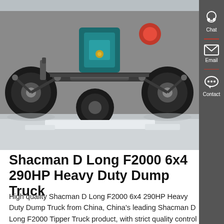[Figure (photo): Underside/undercarriage view of a heavy duty dump truck, showing axles, suspension, tires, and a teal-colored engine/gearbox component in the center. Light grey pavement visible at bottom.]
Shacman D Long F2000 6x4 290HP Heavy Duty Dump Truck
High quality Shacman D Long F2000 6x4 290HP Heavy Duty Dump Truck from China, China's leading Shacman D Long F2000 Tipper Truck product, with strict quality control 290HP Heavy Duty Dump Truck factories, producing high quality 6x4 Heavy Duty Dump Truck products.